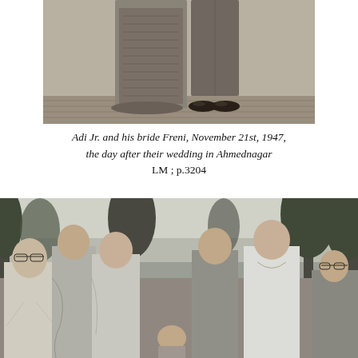[Figure (photo): Black and white photograph showing two people from the waist down — a woman in a long patterned dress/sari and a man in trousers and dress shoes, standing together. This is the top portion of a photograph of Adi Jr. and his bride Freni.]
Adi Jr. and his bride Freni, November 21st, 1947, the day after their wedding in Ahmednagar LM ; p.3204
[Figure (photo): Black and white outdoor photograph showing a group of six women, mostly wearing saris, standing together in a garden or park setting with trees visible in the background. The women are posing together, some smiling at the camera.]